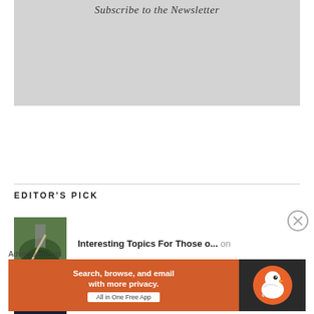[Figure (illustration): Gray newsletter subscription banner with italic text 'Subscribe to the Newsletter']
Subscribe to the Newsletter
EDITOR'S PICK
[Figure (photo): Aerial view of a winding road through green forest with a tower structure]
Interesting Topics For Those o... on
[Figure (photo): Boutique hotel stone building in Positano]
Boutique Hotel Picks - Positan... on
[Figure (photo): Ornate archway or corridor with dramatic lighting]
Happy Thoughts Will Get You Th... on
Advertisements
[Figure (screenshot): DuckDuckGo advertisement: orange panel with 'Search, browse, and email with more privacy. All in One Free App' and DuckDuckGo duck logo on dark background]